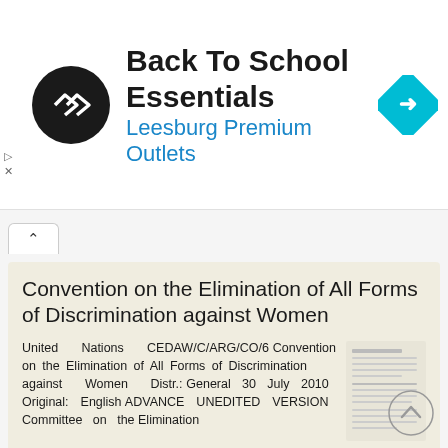[Figure (infographic): Advertisement banner: Back To School Essentials at Leesburg Premium Outlets with circular logo and navigation icon]
Convention on the Elimination of All Forms of Discrimination against Women
United Nations CEDAW/C/ARG/CO/6 Convention on the Elimination of All Forms of Discrimination against Women Distr.: General 30 July 2010 Original: English ADVANCE UNEDITED VERSION Committee on the Elimination
More information →
An Inclusive, Equitable and Prosperous Caribbean
An Inclusive, Equitable and Prosperous Car...